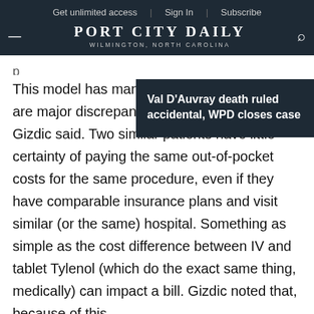Get unlimited access | Sign In | Subscribe
PORT CITY DAILY WILMINGTON, NORTH CAROLINA
Val D'Auvray death ruled accidental, WPD closes case
This model has many i... are major discrepancies Gizdic said. Two similar patients have little certainty of paying the same out-of-pocket costs for the same procedure, even if they have comparable insurance plans and visit similar (or the same) hospital. Something as simple as the cost difference between IV and tablet Tylenol (which do the exact same thing, medically) can impact a bill. Gizdic noted that, because of this, even the new laws regulating hospital pricing